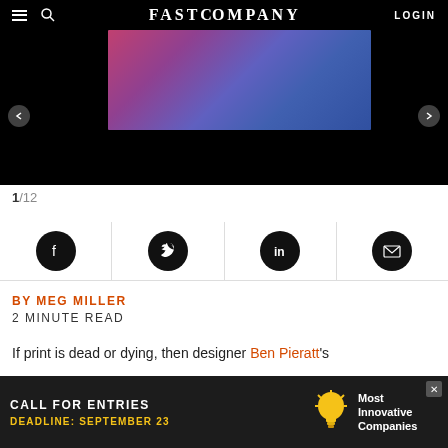FAST COMPANY  LOGIN
[Figure (photo): Hero image slideshow showing colorful display panels/screens with a dark background. Navigation arrows on left and right sides.]
1/12
[Figure (infographic): Social sharing icons row: Facebook, Twitter, LinkedIn, Email — each in a black circle, separated by vertical dividers]
BY MEG MILLER
2 MINUTE READ
If print is dead or dying, then designer Ben Pieratt's
[Figure (infographic): Advertisement banner: CALL FOR ENTRIES — DEADLINE: SEPTEMBER 23 — Most Innovative Companies with lightbulb icon]